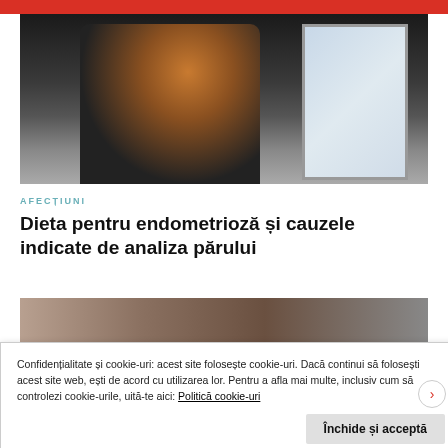[Figure (photo): A person with reddish hair sitting hugging their knees near a large window, dark moody atmosphere]
AFECȚIUNI
Dieta pentru endometrioză și cauzele indicate de analiza părului
[Figure (photo): A person leaning over a table, viewed from above, warm tones]
Confidențialitate și cookie-uri: acest site folosește cookie-uri. Dacă continui să folosești acest site web, ești de acord cu utilizarea lor. Pentru a afla mai multe, inclusiv cum să controlezi cookie-urile, uită-te aici: Politică cookie-uri
Închide și acceptă
PARENTIZEAZA ACEASTA RECLAMA